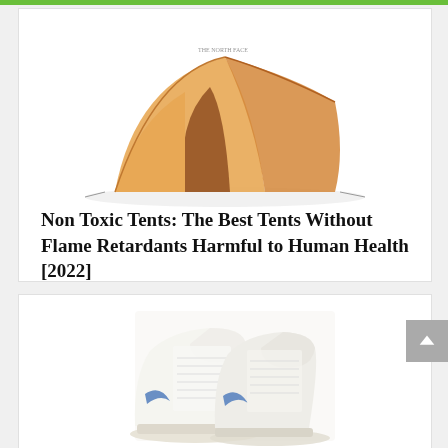[Figure (photo): An orange camping tent with an open door flap, shown on a white background.]
Non Toxic Tents: The Best Tents Without Flame Retardants Harmful to Human Health [2022]
[Figure (photo): A pair of white high-top sneakers with blue chevron logo on the side, displayed on a light background.]